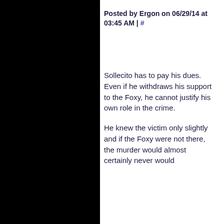Posted by Ergon on 06/29/14 at 03:45 AM | #
Sollecito has to pay his dues. Even if he withdraws his support to the Foxy, he cannot justify his own role in the crime.
He knew the victim only slightly and if the Foxy were not there, the murder would almost certainly never would